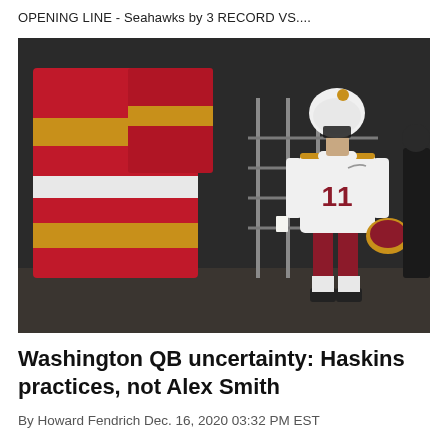OPENING LINE - Seahawks by 3 RECORD VS....
[Figure (photo): Washington Football Team player wearing #11 jersey and white uniform walking through a stadium tunnel, carrying his helmet, wearing a mask. Large red and gold padded barriers are visible on the left side.]
Washington QB uncertainty: Haskins practices, not Alex Smith
By Howard Fendrich Dec. 16, 2020 03:32 PM EST